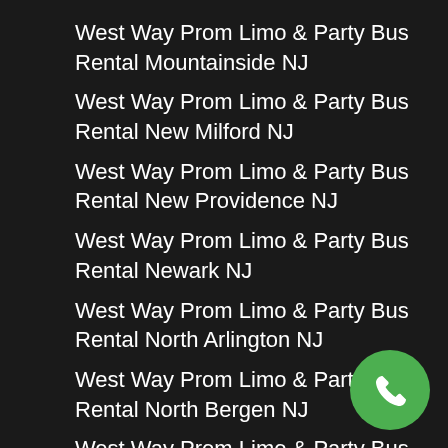West Way Prom Limo & Party Bus Rental Mountainside NJ
West Way Prom Limo & Party Bus Rental New Milford NJ
West Way Prom Limo & Party Bus Rental New Providence NJ
West Way Prom Limo & Party Bus Rental Newark NJ
West Way Prom Limo & Party Bus Rental North Arlington NJ
West Way Prom Limo & Party Bus Rental North Bergen NJ
West Way Prom Limo & Party Bus Rental North Caldwell NJ
West Way Prom Limo & Party Bus Rental Northvale NJ
West Way Prom Limo & Party Bus Rental Norwood
West Way Prom Limo & Party Bus Rental Nutley NJ
West Way Prom Limo & Party Bus Rental Oakland NJ